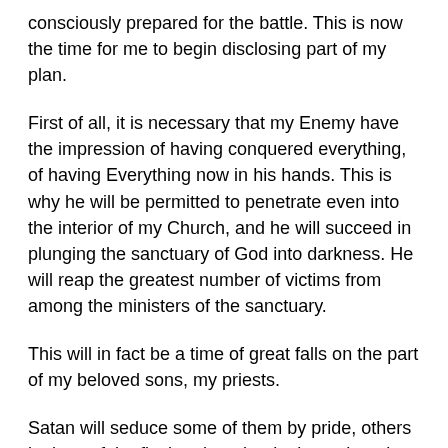consciously prepared for the battle. This is now the time for me to begin disclosing part of my plan.
First of all, it is necessary that my Enemy have the impression of having conquered everything, of having Everything now in his hands. This is why he will be permitted to penetrate even into the interior of my Church, and he will succeed in plunging the sanctuary of God into darkness. He will reap the greatest number of victims from among the ministers of the sanctuary.
This will in fact be a time of great falls on the part of my beloved sons, my priests.
Satan will seduce some of them by pride, others by love of the flesh, others by doubts, others by unbelief, and still others by discouragement and loneliness.